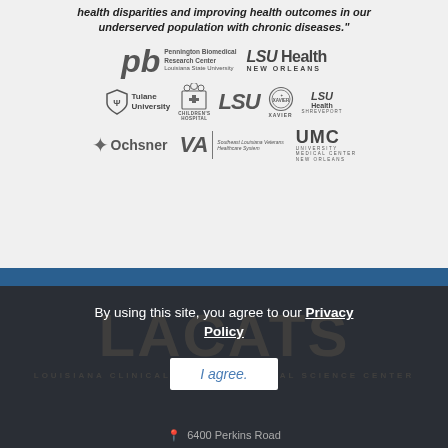health disparities and improving health outcomes in our underserved population with chronic diseases."
[Figure (logo): Partner institution logos: Pennington Biomedical Research Center (Louisiana State University), LSU Health New Orleans, Tulane University, Children's Hospital, LSU, Xavier University of Louisiana, LSU Health Shreveport, Ochsner, VA Southeast Louisiana Veterans Healthcare System, UMC University Medical Center New Orleans]
By using this site, you agree to our Privacy Policy
I agree.
6400 Perkins Road